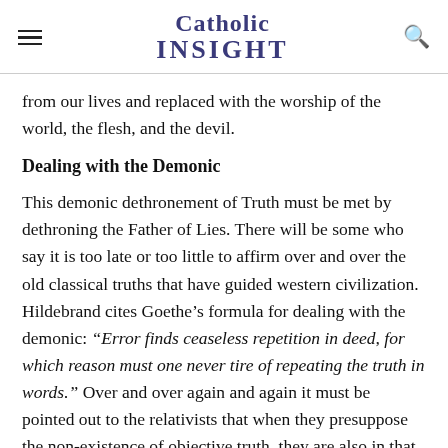Catholic INSIGHT
from our lives and replaced with the worship of the world, the flesh, and the devil.
Dealing with the Demonic
This demonic dethronement of Truth must be met by dethroning the Father of Lies. There will be some who say it is too late or too little to affirm over and over the old classical truths that have guided western civilization. Hildebrand cites Goethe’s formula for dealing with the demonic: “Error finds ceaseless repetition in deed, for which reason must one never tire of repeating the truth in words.” Over and over again and again it must be pointed out to the relativists that when they presuppose the non-existence of objective truth, they are also in that very